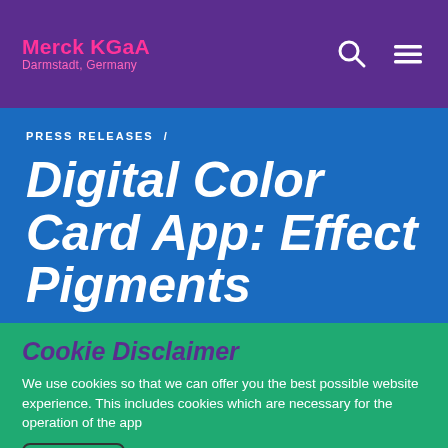Merck KGaA Darmstadt, Germany
PRESS RELEASES /
Digital Color Card App: Effect Pigments
Cookie Disclaimer
We use cookies so that we can offer you the best possible website experience. This includes cookies which are necessary for the operation of the app
GOT IT!
COOKIE SETTINGS →